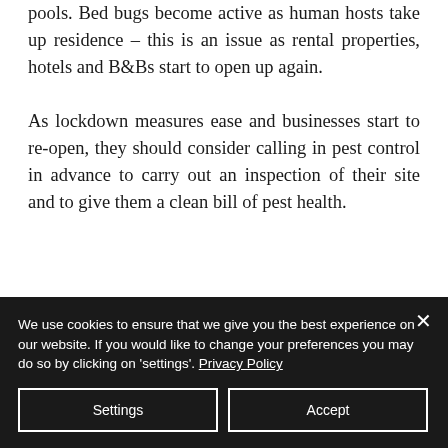pools. Bed bugs become active as human hosts take up residence – this is an issue as rental properties, hotels and B&Bs start to open up again.
As lockdown measures ease and businesses start to re-open, they should consider calling in pest control in advance to carry out an inspection of their site and to give them a clean bill of pest health.
We use cookies to ensure that we give you the best experience on our website. If you would like to change your preferences you may do so by clicking on 'settings'. Privacy Policy